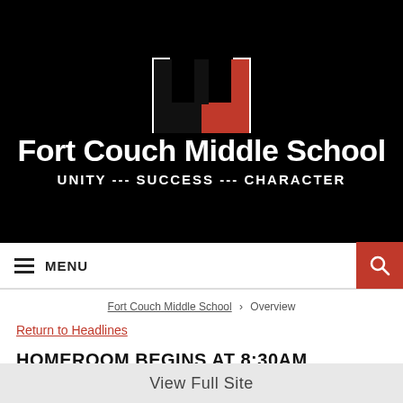[Figure (logo): Fort Couch Middle School logo: a stylized 'U' shape with black left side and red right side, white border, on black background]
Fort Couch Middle School
UNITY --- SUCCESS --- CHARACTER
≡ MENU
Fort Couch Middle School > Overview
Return to Headlines
HOMEROOM BEGINS AT 8:30AM
View Full Site